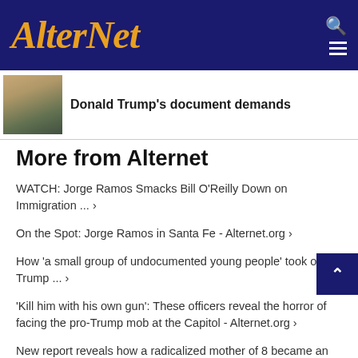AlterNet
Donald Trump's document demands
More from Alternet
WATCH: Jorge Ramos Smacks Bill O'Reilly Down on Immigration ... ›
On the Spot: Jorge Ramos in Santa Fe - Alternet.org ›
How 'a small group of undocumented young people' took on Trump ... ›
'Kill him with his own gun': These officers reveal the horror of facing the pro-Trump mob at the Capitol - Alternet.org ›
New report reveals how a radicalized mother of 8 became an infamous figure in the Capitol attack - Alternet…